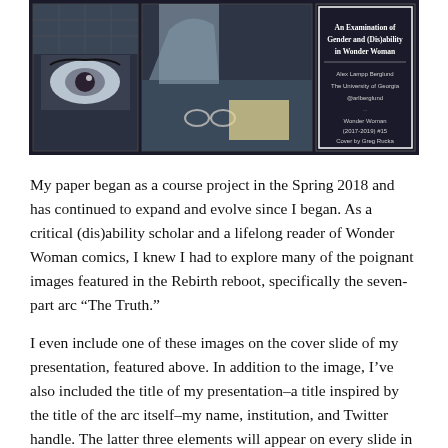[Figure (illustration): Cover slide of a presentation titled 'An Examination of Gender and (Dis)ability in Wonder Woman'. Shows comic book panels with Wonder Woman imagery on a dark background. Text on the right side reads: Alex Lampp Berglund, The University of Georgia, @arlberglund, Wonder Woman (2017-2019) #15, Cover by Greg Rucka.]
My paper began as a course project in the Spring 2018 and has continued to expand and evolve since I began. As a critical (dis)ability scholar and a lifelong reader of Wonder Woman comics, I knew I had to explore many of the poignant images featured in the Rebirth reboot, specifically the seven-part arc “The Truth.”
I even include one of these images on the cover slide of my presentation, featured above. In addition to the image, I’ve also included the title of my presentation–a title inspired by the title of the arc itself–my name, institution, and Twitter handle. The latter three elements will appear on every slide in the presentation. Below my